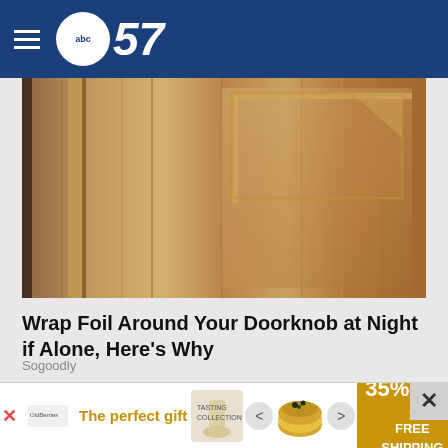abc57
[Figure (photo): Close-up photo of a brown wooden door with panel details and wood grain texture]
Wrap Foil Around Your Doorknob at Night if Alone, Here's Why
Sogoodly
[Figure (photo): Close-up photo of a hand holding small dark round objects on a tiled background]
The perfect gift
35% OFF + FREE SHIPPING